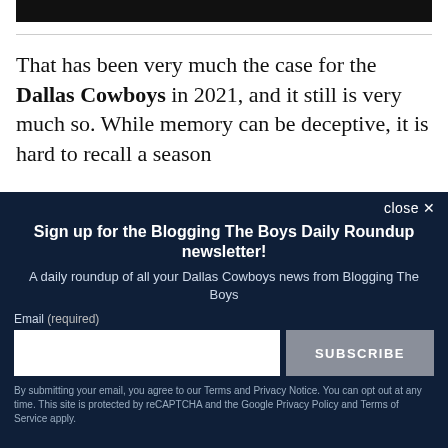[Figure (photo): Dark/black image bar at the top of the page]
That has been very much the case for the Dallas Cowboys in 2021, and it still is very much so. While memory can be deceptive, it is hard to recall a season
close ✕
Sign up for the Blogging The Boys Daily Roundup newsletter!
A daily roundup of all your Dallas Cowboys news from Blogging The Boys
Email (required)
SUBSCRIBE
By submitting your email, you agree to our Terms and Privacy Notice. You can opt out at any time. This site is protected by reCAPTCHA and the Google Privacy Policy and Terms of Service apply.